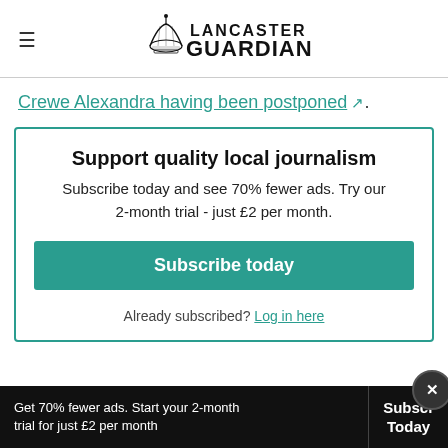Lancaster Guardian
Crewe Alexandra having been postponed.
Support quality local journalism
Subscribe today and see 70% fewer ads. Try our 2-month trial - just £2 per month.
Subscribe today
Already subscribed? Log in here
Get 70% fewer ads. Start your 2-month trial for just £2 per month  Subscribe Today  ×